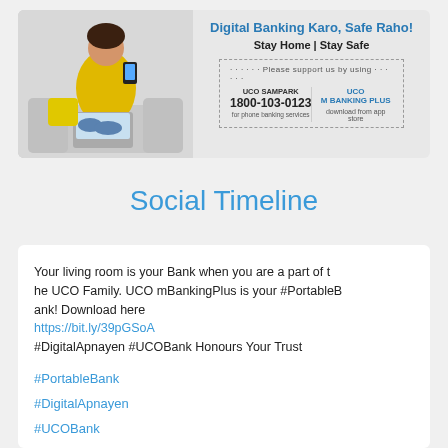[Figure (illustration): UCO Bank digital banking banner showing a woman in a yellow jacket sitting on a sofa using a smartphone, with text 'Digital Banking Karo, Safe Raho! Stay Home | Stay Safe' and a dotted box listing UCO SAMPARK 1800-103-0123 for phone banking and UCO M BANKING PLUS downloadable from app store.]
Social Timeline
Your living room is your Bank when you are a part of the UCO Family. UCO mBankingPlus is your #PortableBank! Download here https://bit.ly/39pGSoA #DigitalApnayen #UCOBank Honours Your Trust
#PortableBank
#DigitalApnayen
#UCOBank